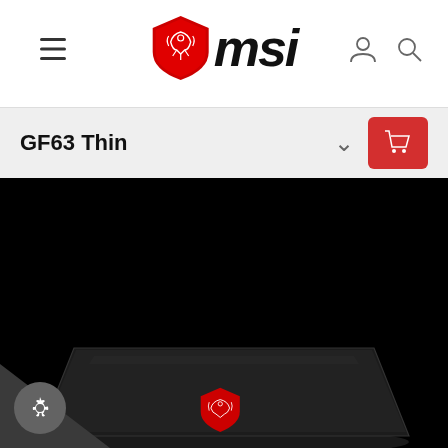MSI - GF63 Thin product page header with hamburger menu, MSI logo, user icon and search icon
GF63 Thin
[Figure (screenshot): MSI GF63 Thin gaming laptop shown from above on a black background, closed lid view with red MSI dragon logo on the lid center]